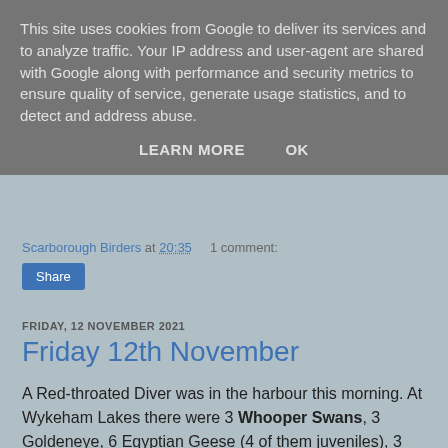This site uses cookies from Google to deliver its services and to analyze traffic. Your IP address and user-agent are shared with Google along with performance and security metrics to ensure quality of service, generate usage statistics, and to detect and address abuse.
LEARN MORE   OK
Scarborough Birders at 20:35   1 comment:
Share
FRIDAY, 12 NOVEMBER 2021
Friday 12th November
A Red-throated Diver was in the harbour this morning. At Wykeham Lakes there were 3 Whooper Swans, 3 Goldeneye, 6 Egyptian Geese (4 of them juveniles), 3 Little Grebes and 17 Siskins were at South Lake, while 3 Snipe, 3 Goldeneye, 24 Cormorants and 2 Wigeon were at East Lake.